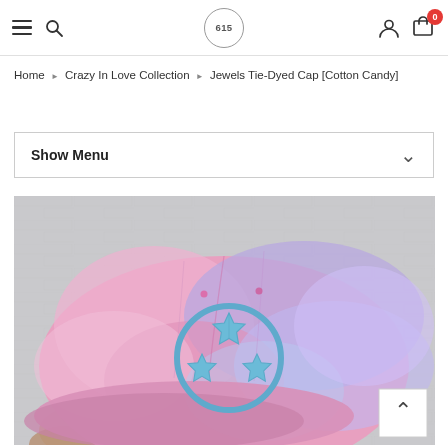Navigation bar with hamburger menu, search icon, 615 logo, user icon, and cart (0 items)
Home > Crazy In Love Collection > Jewels Tie-Dyed Cap [Cotton Candy]
Show Menu
[Figure (photo): Close-up photo of a cotton candy tie-dyed baseball cap in pink and purple hues with a blue embroidered three-star Tennessee state logo in a circle on the front panel, held by a person against a light brick wall background.]